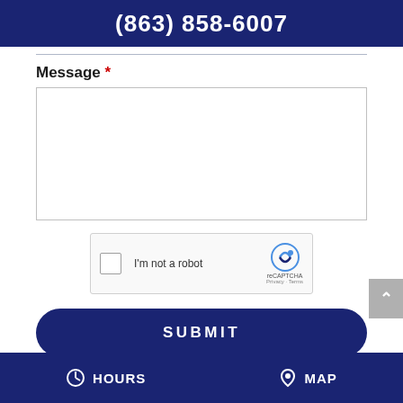(863) 858-6007
Message *
[Figure (screenshot): Empty message text area input field with border]
[Figure (screenshot): reCAPTCHA widget with checkbox labeled I'm not a robot]
SUBMIT
HOURS   MAP